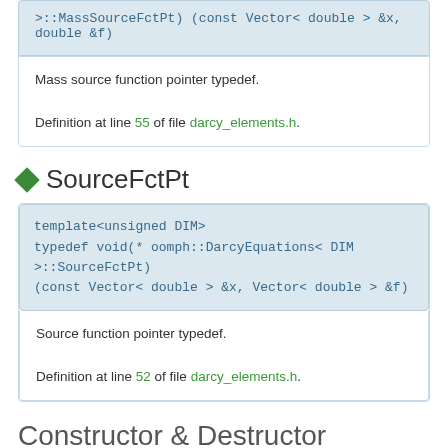>>::MassSourceFctPt) (const Vector< double > &x, double &f)
Mass source function pointer typedef.

Definition at line 55 of file darcy_elements.h.
SourceFctPt
template<unsigned DIM>
typedef void(* oomph::DarcyEquations< DIM >::SourceFctPt)
(const Vector< double > &x, Vector< double > &f)
Source function pointer typedef.

Definition at line 52 of file darcy_elements.h.
Constructor & Destructor Documentation